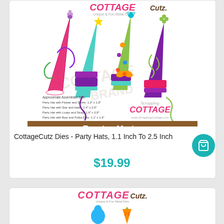[Figure (illustration): Product listing card showing CottageCutz party hat dies illustration with colorful party hats and Scrapping Cottage logo]
CottageCutz Dies - Party Hats, 1.1 Inch To 2.5 Inch
$19.99
[Figure (logo): Second product card showing CottageCutz logo with partial product illustration (egg and carrot shapes visible)]